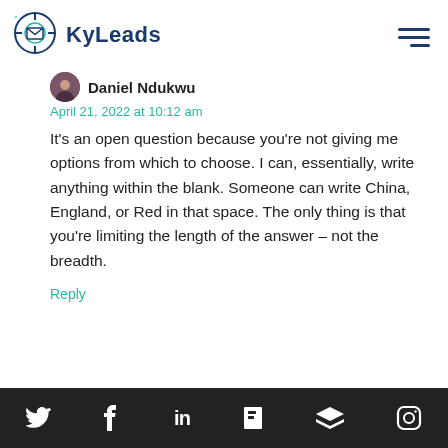KyLeads
Daniel Ndukwu
April 21, 2022 at 10:12 am
It’s an open question because you’re not giving me options from which to choose. I can, essentially, write anything within the blank. Someone can write China, England, or Red in that space. The only thing is that you’re limiting the length of the answer – not the breadth.
Reply
Social share bar: Twitter, Facebook, LinkedIn, Flipboard, Buffer, Instagram